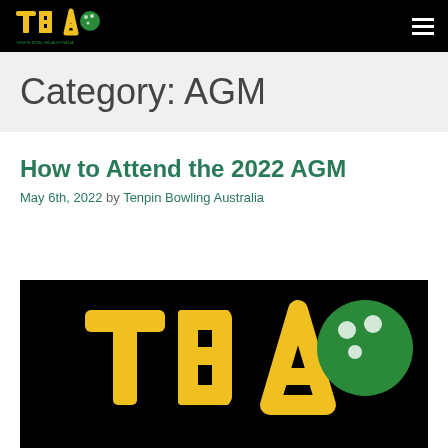TBA — Tenpin Bowling Australia navigation bar
Category: AGM
How to Attend the 2022 AGM
May 6th, 2022 by Tenpin Bowling Australia
[Figure (logo): TBA (Tenpin Bowling Australia) logo on black background — large yellow TBA letters with green bowling ball graphic]